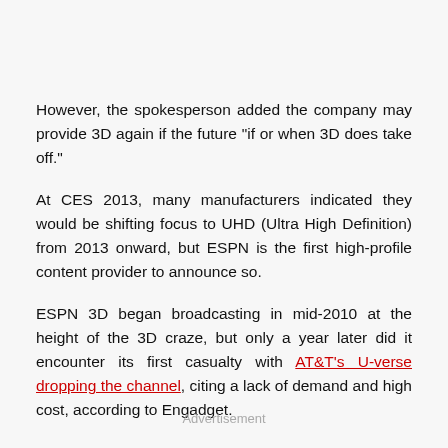However, the spokesperson added the company may provide 3D again if the future "if or when 3D does take off."
At CES 2013, many manufacturers indicated they would be shifting focus to UHD (Ultra High Definition) from 2013 onward, but ESPN is the first high-profile content provider to announce so.
ESPN 3D began broadcasting in mid-2010 at the height of the 3D craze, but only a year later did it encounter its first casualty with AT&T's U-verse dropping the channel, citing a lack of demand and high cost, according to Engadget.
Advertisement